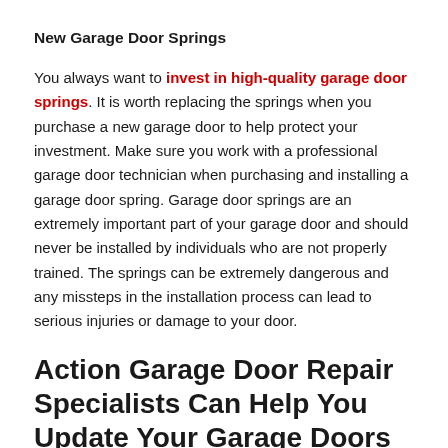New Garage Door Springs
You always want to invest in high-quality garage door springs. It is worth replacing the springs when you purchase a new garage door to help protect your investment. Make sure you work with a professional garage door technician when purchasing and installing a garage door spring. Garage door springs are an extremely important part of your garage door and should never be installed by individuals who are not properly trained. The springs can be extremely dangerous and any missteps in the installation process can lead to serious injuries or damage to your door.
Action Garage Door Repair Specialists Can Help You Update Your Garage Doors